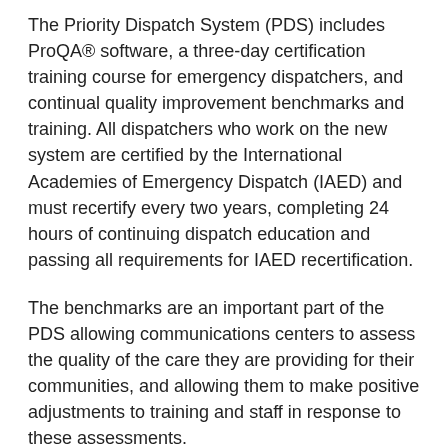The Priority Dispatch System (PDS) includes ProQA® software, a three-day certification training course for emergency dispatchers, and continual quality improvement benchmarks and training. All dispatchers who work on the new system are certified by the International Academies of Emergency Dispatch (IAED) and must recertify every two years, completing 24 hours of continuing dispatch education and passing all requirements for IAED recertification.
The benchmarks are an important part of the PDS allowing communications centers to assess the quality of the care they are providing for their communities, and allowing them to make positive adjustments to training and staff in response to these assessments.
The constantly evolving PDS will help provide the highest standard of care to the community, allowing Emergency Medical Dispatchers to better manage limited resources and increase the accuracy and efficiency of the dispatching process.